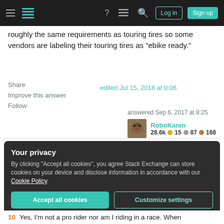Stack Exchange navigation — Log in | Sign up
roughly the same requirements as touring tires so some vendors are labeling their touring tires as "ebike ready."
Share | Improve this answer | Follow
edited Jul 15, 2018 at 0:06
answered Sep 6, 2017 at 8:25
RoboKaren
28.6k  15  87  168
Your privacy
By clicking "Accept all cookies", you agree Stack Exchange can store cookies on your device and disclose information in accordance with our Cookie Policy.
Accept all cookies | Customize settings
10   Yes, I'm not a pro rider nor am I riding in a race. When